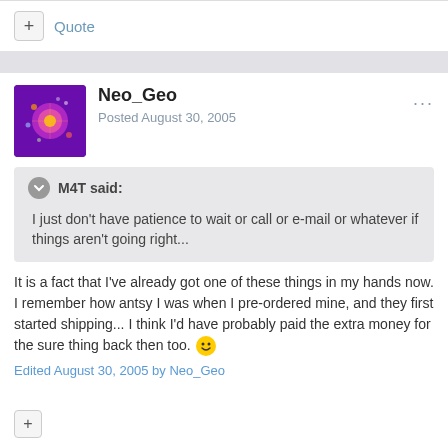+ Quote
Neo_Geo
Posted August 30, 2005
M4T said:
I just don't have patience to wait or call or e-mail or whatever if things aren't going right...
It is a fact that I've already got one of these things in my hands now. I remember how antsy I was when I pre-ordered mine, and they first started shipping... I think I'd have probably paid the extra money for the sure thing back then too. 😊
Edited August 30, 2005 by Neo_Geo